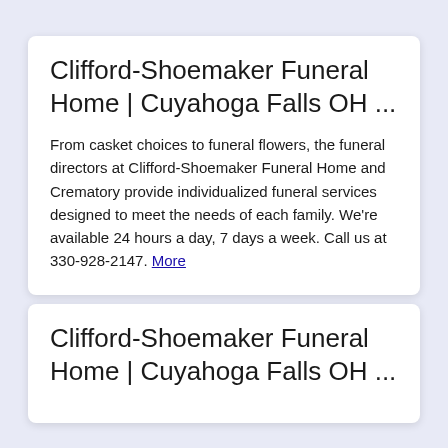Clifford-Shoemaker Funeral Home | Cuyahoga Falls OH ...
From casket choices to funeral flowers, the funeral directors at Clifford-Shoemaker Funeral Home and Crematory provide individualized funeral services designed to meet the needs of each family. We're available 24 hours a day, 7 days a week. Call us at 330-928-2147. More
Clifford-Shoemaker Funeral Home | Cuyahoga Falls OH ...